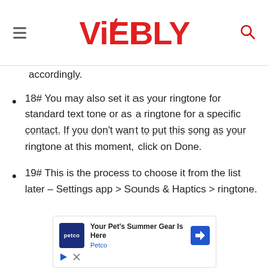ViEBLY
accordingly.
18# You may also set it as your ringtone for standard text tone or as a ringtone for a specific contact. If you don't want to put this song as your ringtone at this moment, click on Done.
19# This is the process to choose it from the list later – Settings app > Sounds & Haptics > ringtone.
[Figure (infographic): Advertisement banner for Petco: 'Your Pet's Summer Gear Is Here' with Petco logo and navigation icon, with play and close controls.]